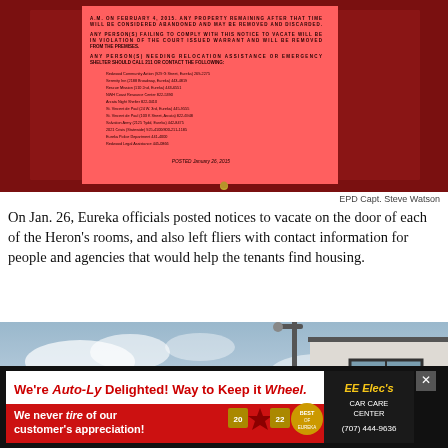[Figure (photo): Photo of a red/pink notice to vacate posted on a dark red door, with text listing relocation resources and posted date January 26, 2015]
EPD Capt. Steve Watson
On Jan. 26, Eureka officials posted notices to vacate on the door of each of the Heron's rooms, and also left fliers with contact information for people and agencies that would help the tenants find housing.
[Figure (photo): Photo of the Blue Heron Residences building exterior showing the sign 'BLUE HERON RESIDENCES Not a Motel' with a cloudy sky background]
[Figure (other): Advertisement: We're Auto-Ly Delighted! Way to Keep it Wheel. We never tire of our customer's appreciation! 20 22. EE Elec's Car Care Center (707) 444-9636]